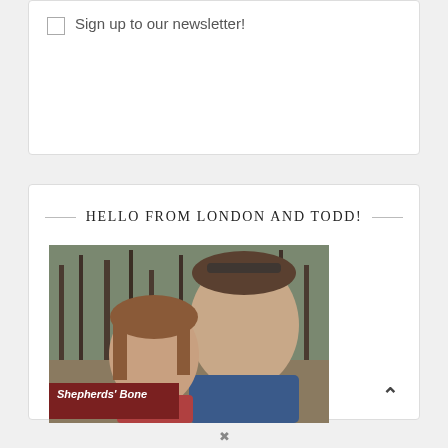Sign up to our newsletter!
HELLO FROM LONDON AND TODD!
[Figure (photo): A man and a young girl posing outdoors in a forest setting next to a dark red sign reading 'Shepherds' Bone'. The man is wearing a blue t-shirt and has sunglasses on his head. Trees are visible in the background.]